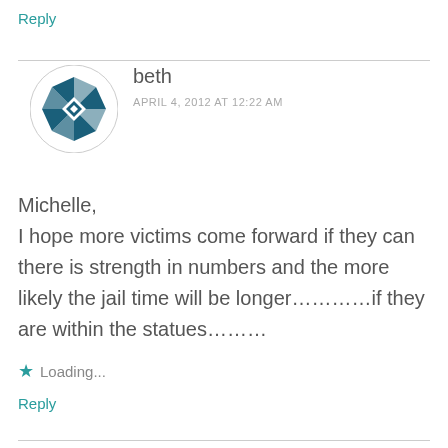Reply
[Figure (illustration): Circular avatar with dark teal geometric pinwheel/star quilt pattern on white background]
beth
APRIL 4, 2012 AT 12:22 AM
Michelle,
I hope more victims come forward if they can there is strength in numbers and the more likely the jail time will be longer…………if they are within the statues………
Loading...
Reply